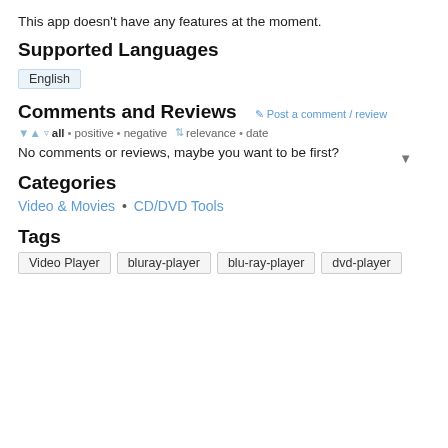This app doesn't have any features at the moment.
Supported Languages
English
Comments and Reviews
Post a comment / review
all • positive • negative  relevance • date
No comments or reviews, maybe you want to be first?
Categories
Video & Movies • CD/DVD Tools
Tags
Video Player
bluray-player
blu-ray-player
dvd-player